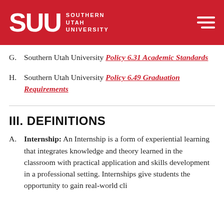SUU Southern Utah University
G. Southern Utah University Policy 6.31 Academic Standards
H. Southern Utah University Policy 6.49 Graduation Requirements
III. DEFINITIONS
A. Internship: An Internship is a form of experiential learning that integrates knowledge and theory learned in the classroom with practical application and skills development in a professional setting. Internships give students the opportunity to...